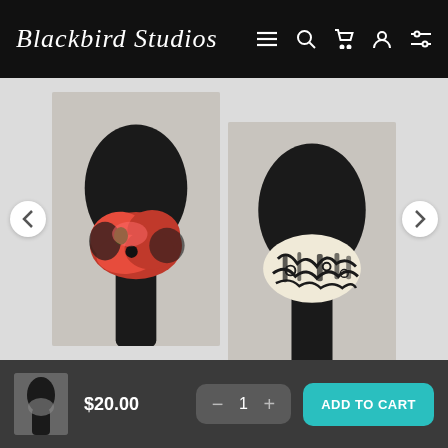Blackbird Studios
[Figure (photo): Two face masks on black mannequin heads. Left: red poppy floral fabric mask on black mannequin against light background. Right: black and white abstract patterned fabric mask on black mannequin against light background.]
$20.00
1
ADD TO CART